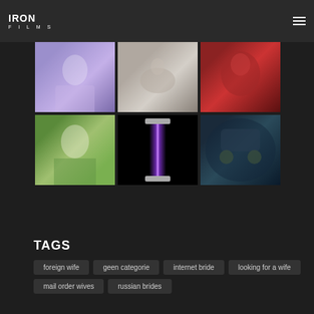IRON FILMS
[Figure (photo): Grid of 6 film/video thumbnails in two rows of three: row1: person in pink suit, hands close-up, face in red light; row2: man making surprised face outdoors, vertical glowing purple bar on black, two people near car at night]
TAGS
foreign wife
geen categorie
internet bride
looking for a wife
mail order wives
russian brides